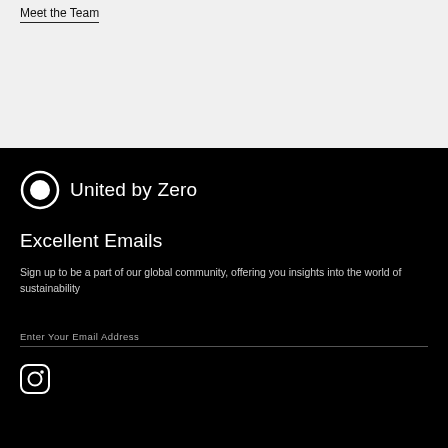Meet the Team
[Figure (logo): United by Zero logo: circle with inner filled circle, followed by text 'United by Zero']
Excellent Emails
Sign up to be a part of our global community, offering you insights into the world of sustainability
Enter Your Email Address
[Figure (logo): Instagram icon in white on black background]